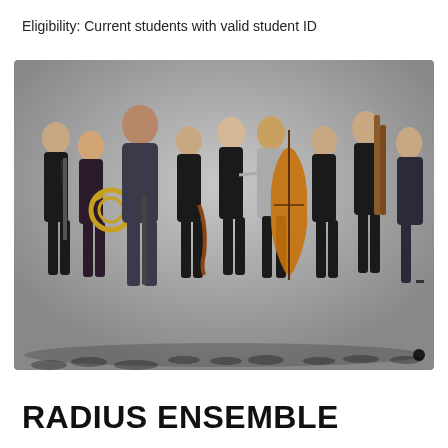Eligibility: Current students with valid student ID
[Figure (photo): Group photo of the Radius Ensemble, approximately 10 musicians standing in a line against a grey background, each holding their instrument. Instruments include clarinet, french horn, oboe/flute, violin, flute, cello, bassoon, and others. Most musicians are dressed in black.]
RADIUS ENSEMBLE